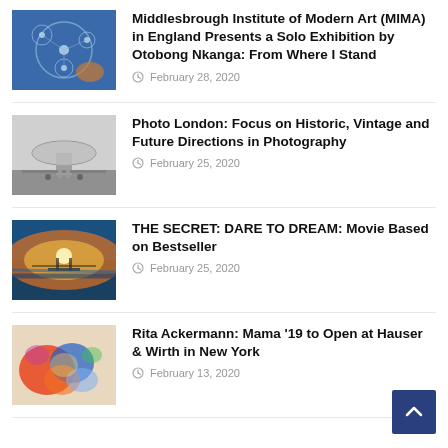[Figure (photo): Abstract blue and orange artwork with circular patterns]
Middlesbrough Institute of Modern Art (MIMA) in England Presents a Solo Exhibition by Otobong Nkanga: From Where I Stand
February 28, 2020
[Figure (photo): Black and white photo of a large disc-shaped structure with a small figure standing below]
Photo London: Focus on Historic, Vintage and Future Directions in Photography
February 25, 2020
[Figure (photo): Two figures standing on a dock at sunset with orange sky and water reflections]
THE SECRET: DARE TO DREAM: Movie Based on Bestseller
February 25, 2020
[Figure (photo): Colorful abstract painting with red, blue, and yellow paint splatters]
Rita Ackermann: Mama '19 to Open at Hauser & Wirth in New York
February 13, 2020